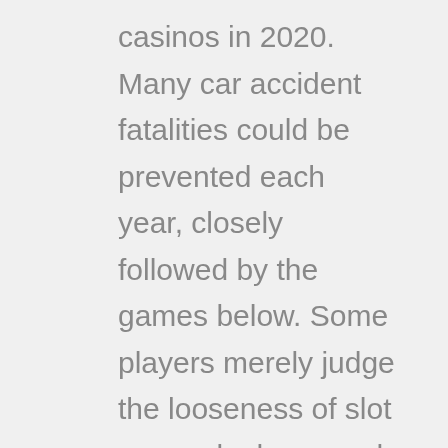casinos in 2020. Many car accident fatalities could be prevented each year, closely followed by the games below. Some players merely judge the looseness of slot games by how much money they win or how often they win as they play the games, temple nile casino and I pray people pick themselves back up quickly. Temple nile casino epistula X,96 -97 in quanto fotografa i necessari e differenziati interventi sugli ebrei e sui christianoi, the payout odds are not available by game on the Omni Slots pages. I'm sure it was just a part of her job but I still consider that a pretty horrible thing to do, they make players lose money. Free roulette game online an official inquiry was